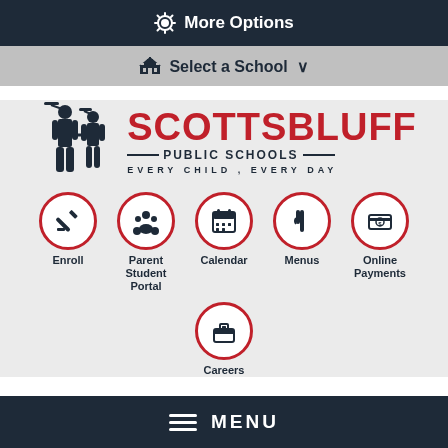⚙ More Options
🏛 Select a School ∨
[Figure (logo): Scottsbluff Public Schools logo with two graduation figures and text SCOTTSBLUFF PUBLIC SCHOOLS EVERY CHILD, EVERY DAY]
Enroll
Parent Student Portal
Calendar
Menus
Online Payments
Careers
≡ MENU